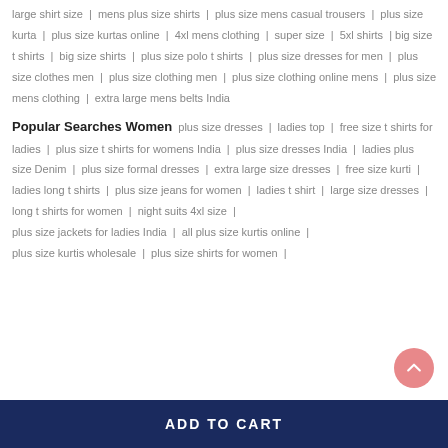large shirt size | mens plus size shirts | plus size mens casual trousers | plus size kurta | plus size kurtas online | 4xl mens clothing | super size | 5xl shirts | big size t shirts | big size shirts | plus size polo t shirts | plus size dresses for men | plus size clothes men | plus size clothing men | plus size clothing online mens | plus size mens clothing | extra large mens belts India
Popular Searches Women
plus size dresses | ladies top | free size t shirts for ladies | plus size t shirts for womens India | plus size dresses India | ladies plus size Denim | plus size formal dresses | extra large size dresses | free size kurti | ladies long t shirts | plus size jeans for women | ladies t shirt | large size dresses | long t shirts for women | night suits 4xl size | plus size jackets for ladies India | all plus size kurtis online | plus size kurtis wholesale | plus size shirts for women |
ADD TO CART